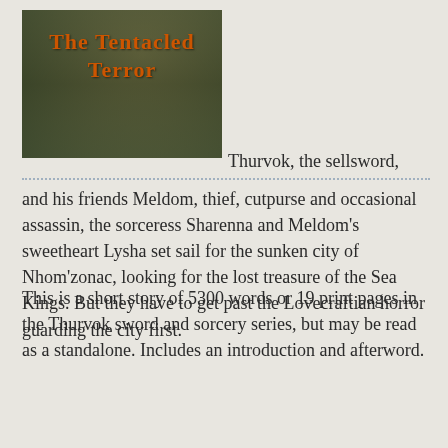[Figure (illustration): Book cover for 'The Tentacled Terror' showing a dark green background with figures, title text in orange bold lettering]
Thurvok, the sellsword, and his friends Meldom, thief, cutpurse and occasional assassin, the sorceress Sharenna and Meldom’s sweetheart Lysha set sail for the sunken city of Nhom’zonac, looking for the lost treasure of the Sea Kings. But they have to get past the Lovecraftian horror guarding the city first.
This is a short story of 5300 words or 19 print pages in the Thurvok sword and sorcery series, but may be read as a standalone. Includes an introduction and afterword.